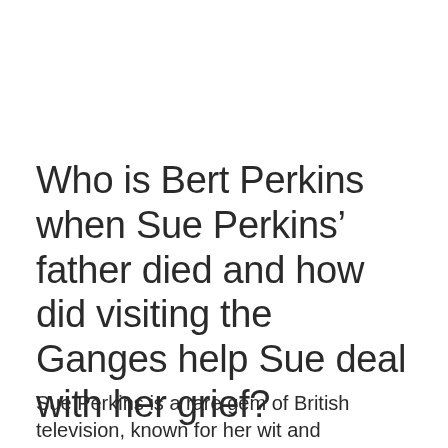Who is Bert Perkins when Sue Perkins' father died and how did visiting the Ganges help Sue deal with her grief?
Sue Perkins is a rare gem of British television, known for her wit and charm.